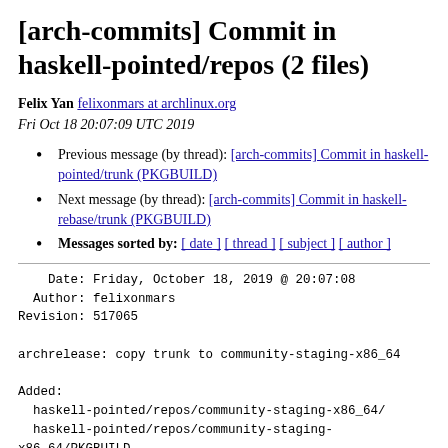[arch-commits] Commit in haskell-pointed/repos (2 files)
Felix Yan felixonmars at archlinux.org
Fri Oct 18 20:07:09 UTC 2019
Previous message (by thread): [arch-commits] Commit in haskell-pointed/trunk (PKGBUILD)
Next message (by thread): [arch-commits] Commit in haskell-rebase/trunk (PKGBUILD)
Messages sorted by: [ date ] [ thread ] [ subject ] [ author ]
Date: Friday, October 18, 2019 @ 20:07:08
  Author: felixonmars
Revision: 517065

archrelease: copy trunk to community-staging-x86_64

Added:
  haskell-pointed/repos/community-staging-x86_64/
  haskell-pointed/repos/community-staging-
x86_64/PKGBUILD
    (from rev 517064, haskell-pointed/trunk/PKGBUILD)